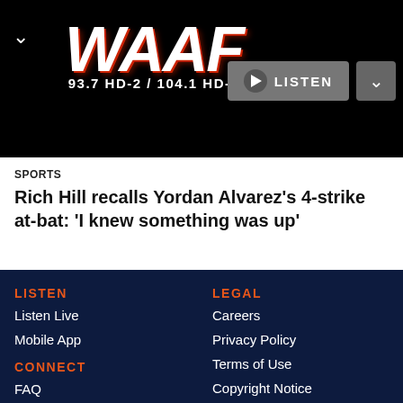[Figure (logo): WAAF radio station logo with text '93.7 HD-2 / 104.1 HD-2']
SPORTS
Rich Hill recalls Yordan Alvarez's 4-strike at-bat: 'I knew something was up'
LISTEN
Listen Live
Mobile App
CONNECT
FAQ
1Thing
Get My PERKS
LEGAL
Careers
Privacy Policy
Terms of Use
Copyright Notice
Music Submission Policy
Do Not Sell My Personal Information